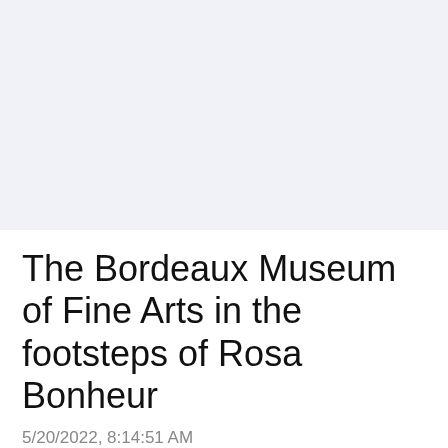[Figure (other): Light grey/blue banner area at top of page, likely an image placeholder]
The Bordeaux Museum of Fine Arts in the footsteps of Rosa Bonheur
5/20/2022, 8:14:51 AM
[Figure (infographic): Social sharing buttons: Facebook (dark blue), Twitter (light blue), Email (grey), Reddit (medium blue), Hacker News Y (orange)]